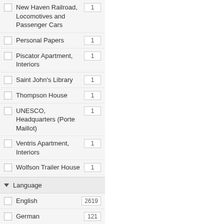New Haven Railroad, Locomotives and Passenger Cars
Personal Papers
Piscator Apartment, Interiors
Saint John's Library
Thompson House
UNESCO, Headquarters (Porte Maillot)
Ventris Apartment, Interiors
Wolfson Trailer House
Language
English
German
Hungarian
Spanish